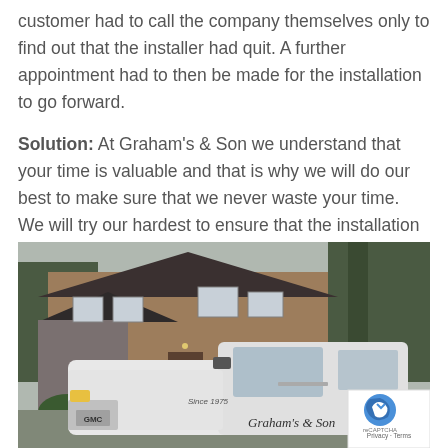customer had to call the company themselves only to find out that the installer had quit. A further appointment had to then be made for the installation to go forward.
Solution: At Graham’s & Son we understand that your time is valuable and that is why we will do our best to make sure that we never waste your time. We will try our hardest to ensure that the installation times that you are given are honoured.
[Figure (photo): A white GMC pickup truck with Graham's & Son branding parked in front of a two-storey brick house with trees in the background.]